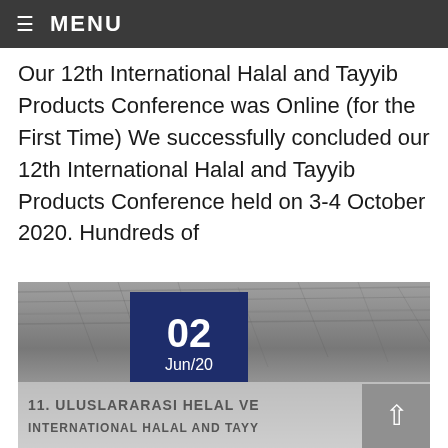≡ MENU
Our 12th International Halal and Tayyib Products Conference was Online (for the First Time) We successfully concluded our 12th International Halal and Tayyib Products Conference held on 3-4 October 2020. Hundreds of
[Figure (photo): Photograph of an animal with fur texture in black and white / grayscale, overlaid with a date badge showing '02 Jun/20' in dark navy blue, and text at the bottom reading '11. ULUSLARARASI HELAL VE ...' and 'INTERNATIONAL HALAL AND TAYY...' A grey scroll-to-top button with an upward arrow is visible in the bottom right corner.]